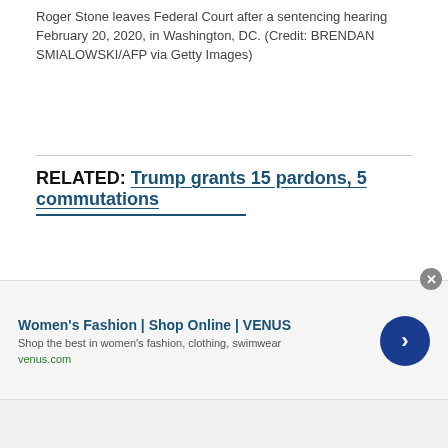Roger Stone leaves Federal Court after a sentencing hearing February 20, 2020, in Washington, DC. (Credit: BRENDAN SMIALOWSKI/AFP via Getty Images)
RELATED: Trump grants 15 pardons, 5 commutations
Though the charges against Manafort did not concern the central thrust of Mueller's mandate — whether the Trump campaign and Russia colluded to tip the election — he was nonetheless a pivotal figure in the investigation. His close relationship to a man U.S. officials have linked to Russian intelligence, and with
[Figure (other): Advertisement banner for Women's Fashion | Shop Online | VENUS with text 'Shop the best in women's fashion, clothing, swimwear' and URL venus.com, with a blue circular arrow button and a close (X) button]